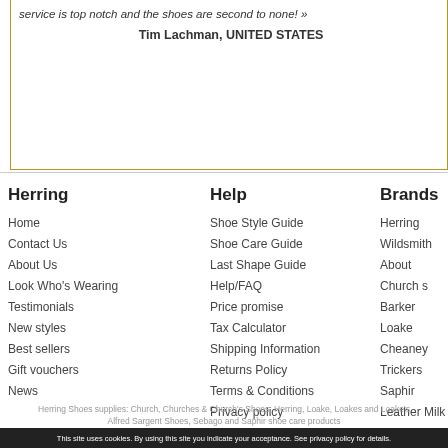service is top notch and the shoes are second to none!
Tim Lachman, UNITED STATES
Herring
Home
Contact Us
About Us
Look Who's Wearing
Testimonials
New styles
Best sellers
Gift vouchers
News
Help
Shoe Style Guide
Shoe Care Guide
Last Shape Guide
Help/FAQ
Price promise
Tax Calculator
Shipping Information
Returns Policy
Terms & Conditions
Privacy policy
Sustainability
Brands
Herring
Wildsmith
About Church s
Barker
Loake
Cheaney
Trickers
Saphir
Leather Milk
Carlos Santos
Sebago
About Stemar s
Herring Shoes supplies: Church, Churches & Church's Shoes, Herring, Loake, Loakes and Loake's Alfred Sargent Shoes, Sebago and Saphir shoe care products
This site uses cookies. By using this site you indicate your acceptance. See privacy policy for details.